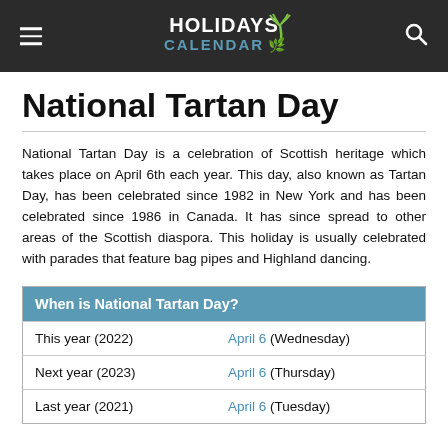Holidays Calendar
National Tartan Day
National Tartan Day is a celebration of Scottish heritage which takes place on April 6th each year. This day, also known as Tartan Day, has been celebrated since 1982 in New York and has been celebrated since 1986 in Canada. It has since spread to other areas of the Scottish diaspora. This holiday is usually celebrated with parades that feature bag pipes and Highland dancing.
| When is National Tartan Day? |
| --- |
| This year (2022) | April 6 (Wednesday) |
| Next year (2023) | April 6 (Thursday) |
| Last year (2021) | April 6 (Tuesday) |